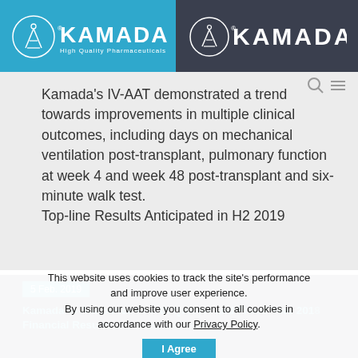[Figure (logo): Kamada High Quality Pharmaceuticals logo on blue background (left) and Kamada logo on dark background (right)]
Kamada's IV-AAT demonstrated a trend towards improvements in multiple clinical outcomes, including days on mechanical ventilation post-transplant, pulmonary function at week 4 and week 48 post-transplant and six-minute walk test.
Top-line Results Anticipated in H2 2019
5 Feb. 2019
Kamada to Announce Fourth Quarter and Fiscal Year 2018 Financial Results and Host Conference
This website uses cookies to track the site's performance and improve user experience. By using our website you consent to all cookies in accordance with our Privacy Policy.